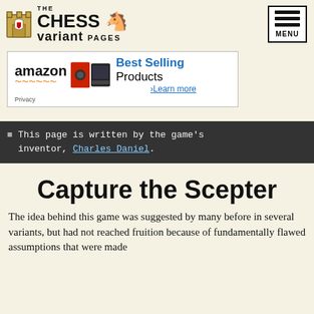The Chess Variant Pages
[Figure (logo): The Chess Variant Pages logo with castle and knight chess pieces]
[Figure (infographic): Amazon advertisement: Best Selling Products - Learn more]
This page is written by the game's inventor, Charles Daniel.
Capture the Scepter
The idea behind this game was suggested by many before in several variants, but had not reached fruition because of fundamentally flawed assumptions that were made